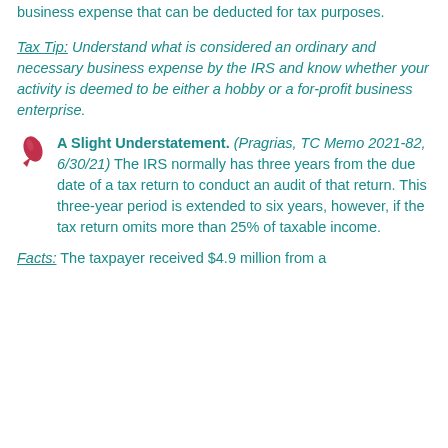business expense that can be deducted for tax purposes.
Tax Tip: Understand what is considered an ordinary and necessary business expense by the IRS and know whether your activity is deemed to be either a hobby or a for-profit business enterprise.
A Slight Understatement. (Pragrias, TC Memo 2021-82, 6/30/21) The IRS normally has three years from the due date of a tax return to conduct an audit of that return. This three-year period is extended to six years, however, if the tax return omits more than 25% of taxable income.
Facts: The taxpayer received $4.9 million from a